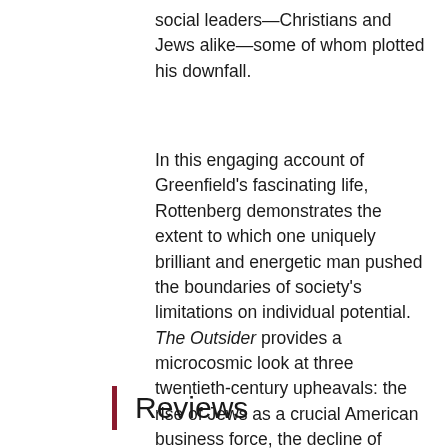social leaders—Christians and Jews alike—some of whom plotted his downfall.
In this engaging account of Greenfield's fascinating life, Rottenberg demonstrates the extent to which one uniquely brilliant and energetic man pushed the boundaries of society's limitations on individual potential. The Outsider provides a microcosmic look at three twentieth-century upheavals: the rise of Jews as a crucial American business force, the decline of America's Protestant Establishment, and the transformation of American cities.
Reviews